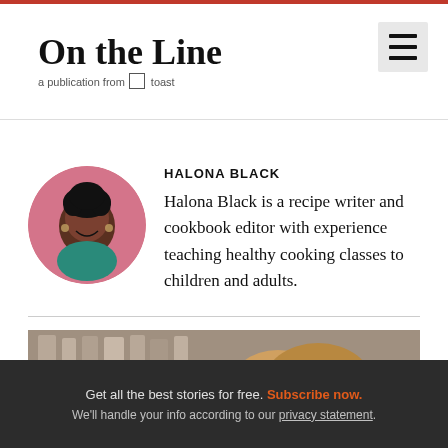On the Line — a publication from Toast
HALONA BLACK
Halona Black is a recipe writer and cookbook editor with experience teaching healthy cooking classes to children and adults.
[Figure (photo): Circular profile photo of Halona Black, a smiling Black woman with natural hair and hoop earrings, wearing a teal/green top, against a pink background.]
[Figure (photo): Partial photo of a person with blonde hair in what appears to be a kitchen or restaurant setting with shelves in the background.]
Get all the best stories for free. Subscribe now. We'll handle your info according to our privacy statement.